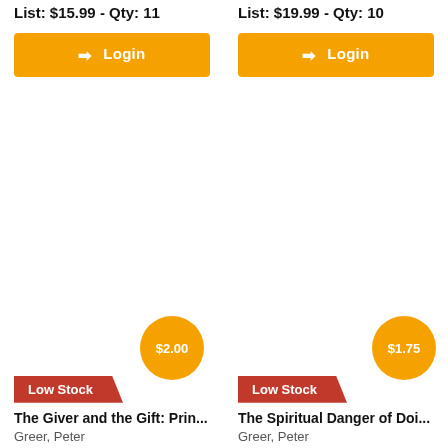List: $15.99 - Qty: 11
List: $19.99 - Qty: 10
Login
Login
$2.00
Low Stock
The Giver and the Gift: Prin...
Greer, Peter
$1.75
Low Stock
The Spiritual Danger of Doi...
Greer, Peter